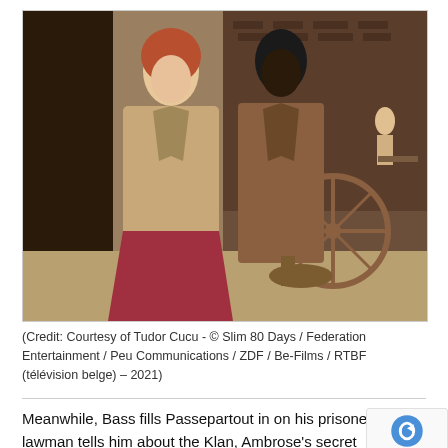[Figure (photo): Two actors in period costume: a woman with red hair wearing a tan jacket and red skirt, and a tall Black man in a brown suit holding a hat. They appear to be on a historical outdoor set with a wagon wheel and brick building in the background.]
(Credit: Courtesy of Tudor Cucu - © Slim 80 Days / Federation Entertainment / Peu Communications / ZDF / Be-Films / RTBF (télévision belge) – 2021)
Meanwhile, Bass fills Passepartout in on his prisoner past, the lawman tells him about the Klan, Ambrose's secret society who don hoods to terrorize and murder black people. Losing the war has forced such men into the shadows...